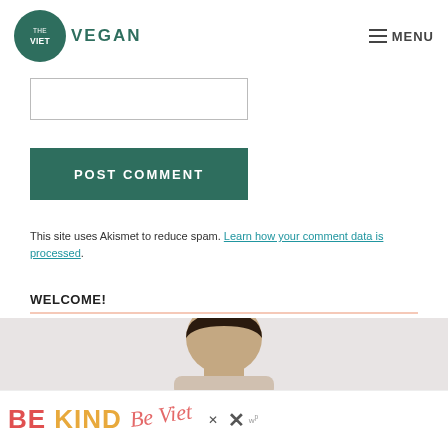[Figure (logo): The Viet Vegan logo: dark green circle with white text 'THE VIET' inside, followed by 'VEGAN' in green letters to the right]
≡ MENU
(input box area — comment form field)
POST COMMENT
This site uses Akismet to reduce spam. Learn how your comment data is processed.
WELCOME!
[Figure (photo): Partial photo of a woman looking down, cropped at top of page section]
[Figure (infographic): Advertisement banner reading 'BE KIND' in large red and yellow letters with decorative script overlay and close buttons]